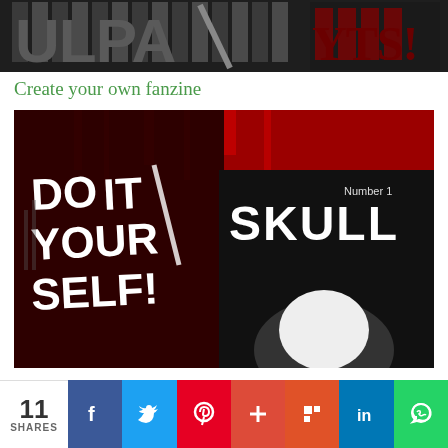[Figure (illustration): Dark header banner with large stylized text in gray tones, resembling an 'ULTRA' fanzine logo with stripe/grid patterns and red accents]
Create your own fanzine
[Figure (photo): Photo collage of punk/DIY fanzine covers. Left side shows red background with white spray-painted text reading 'DO IT YOUR SELF!'. Right side shows black fanzine cover with 'SKULL' text in white letters and a face silhouette. Text 'Number 1' visible in upper right area.]
11 SHARES | Facebook | Twitter | Pinterest | Plus | Flipboard | LinkedIn | WhatsApp